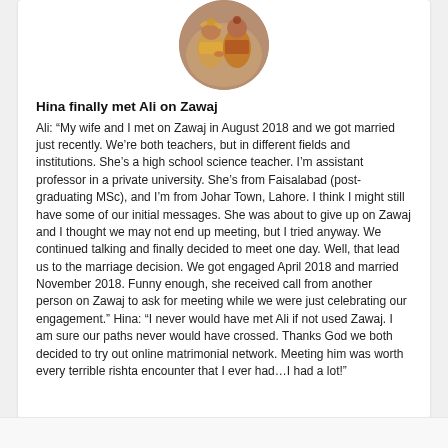[Figure (photo): Circular profile photo showing a wedding/ceremonial scene with colorful traditional attire]
Hina finally met Ali on Zawaj
Ali: “My wife and I met on Zawaj in August 2018 and we got married just recently. We’re both teachers, but in different fields and institutions. She’s a high school science teacher. I’m assistant professor in a private university. She’s from Faisalabad (post-graduating MSc), and I’m from Johar Town, Lahore. I think I might still have some of our initial messages. She was about to give up on Zawaj and I thought we may not end up meeting, but I tried anyway. We continued talking and finally decided to meet one day. Well, that lead us to the marriage decision. We got engaged April 2018 and married November 2018. Funny enough, she received call from another person on Zawaj to ask for meeting while we were just celebrating our engagement.” Hina: “I never would have met Ali if not used Zawaj. I am sure our paths never would have crossed. Thanks God we both decided to try out online matrimonial network. Meeting him was worth every terrible rishta encounter that I ever had…I had a lot!”